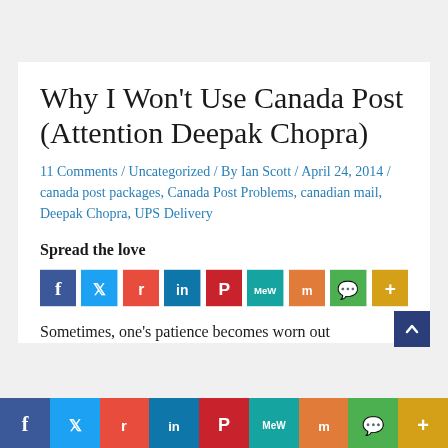Why I Won’t Use Canada Post (Attention Deepak Chopra)
11 Comments / Uncategorized / By Ian Scott / April 24, 2014 / canada post packages, Canada Post Problems, canadian mail, Deepak Chopra, UPS Delivery
Spread the love
[Figure (other): Social sharing icons row: Facebook, Twitter, Reddit, LinkedIn, Pinterest, MeWe, Mix, WhatsApp, More]
Sometimes, one’s patience becomes worn out
[Figure (other): Bottom sticky social sharing bar: Facebook, Twitter, Reddit, LinkedIn, Pinterest, MeWe, Mix, WhatsApp, More]